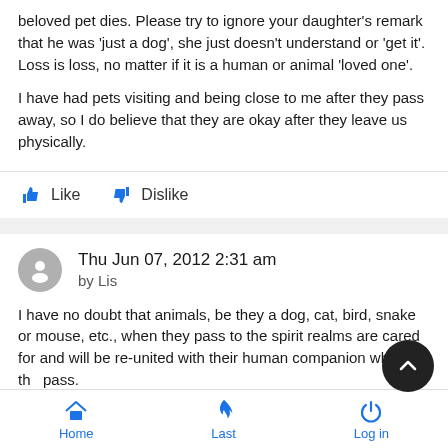beloved pet dies. Please try to ignore your daughter's remark that he was 'just a dog', she just doesn't understand or 'get it'. Loss is loss, no matter if it is a human or animal 'loved one'.

I have had pets visiting and being close to me after they pass away, so I do believe that they are okay after they leave us physically.
Thu Jun 07, 2012 2:31 am
by Lis
I have no doubt that animals, be they a dog, cat, bird, snake or mouse, etc., when they pass to the spirit realms are cared for and will be re-united with their human companion when they pass.